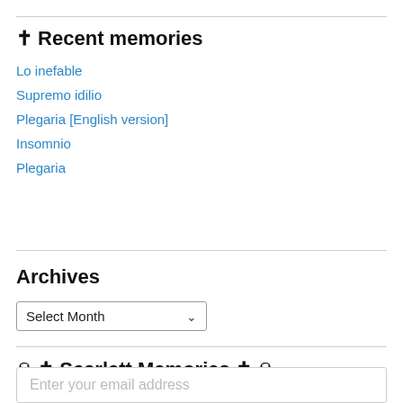✝ Recent memories
Lo inefable
Supremo idilio
Plegaria [English version]
Insomnio
Plegaria
Archives
Select Month
☠ ✝ Scarlett Memories ✝ ☠
☠ Want new memories by email? ☠
Enter your email address